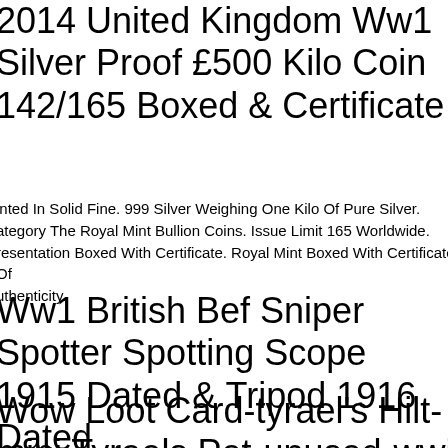2014 United Kingdom Ww1 Silver Proof £500 Kilo Coin 142/165 Boxed & Certificate
inted In Solid Fine. 999 Silver Weighing One Kilo Of Pure Silver. ategory The Royal Mint Bullion Coins. Issue Limit 165 Worldwide. resentation Boxed With Certificate. Royal Mint Boxed With Certificate Of uthenticity.
Ww1 British Bef Sniper Spotter Spotting Scope 1915 Dated & Tripod 1916 Dated
Wow Loot Card-tyrael's Hilt-mini Tyraels Pet-unused-wwi Blizzcon